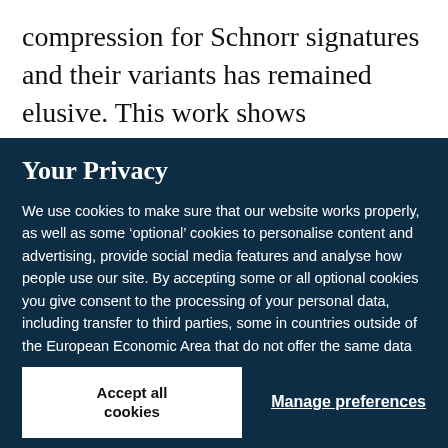compression for Schnorr signatures and their variants has remained elusive. This work shows
Your Privacy
We use cookies to make sure that our website works properly, as well as some ‘optional’ cookies to personalise content and advertising, provide social media features and analyse how people use our site. By accepting some or all optional cookies you give consent to the processing of your personal data, including transfer to third parties, some in countries outside of the European Economic Area that do not offer the same data protection standards as the country where you live. You can decide which optional cookies to accept by clicking on ‘Manage Settings’, where you can also find more information about how your personal data is processed. Further information can be found in our privacy policy.
Accept all cookies
Manage preferences